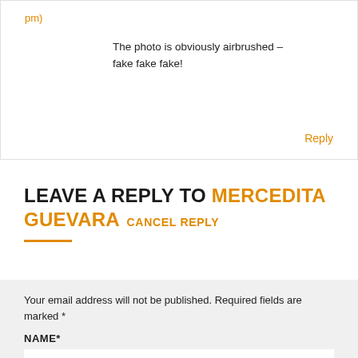pm)
The photo is obviously airbrushed – fake fake fake!
Reply
LEAVE A REPLY TO MERCEDITA GUEVARA CANCEL REPLY
Your email address will not be published. Required fields are marked *
NAME*
Name